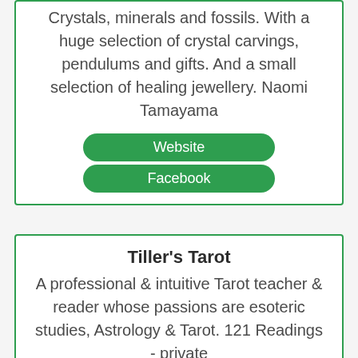Crystals, minerals and fossils. With a huge selection of crystal carvings, pendulums and gifts. And a small selection of healing jewellery. Naomi Tamayama
Website
Facebook
Tiller's Tarot
A professional & intuitive Tarot teacher & reader whose passions are esoteric studies, Astrology & Tarot. 121 Readings - private